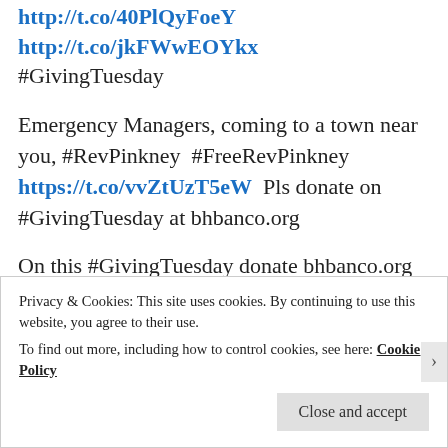http://t.co/40PlQyFoeY
http://t.co/jkFWwEOYkx
#GivingTuesday
Emergency Managers, coming to a town near you, #RevPinkney  #FreeRevPinkney https://t.co/vvZtUzT5eW  Pls donate on #GivingTuesday at bhbanco.org
On this #GivingTuesday donate bhbanco.org #RevPinkney statement prior to unjust sentencing: https://t.co/0XI4u3OEm3 Corruption in Michigan!
Privacy & Cookies: This site uses cookies. By continuing to use this website, you agree to their use.
To find out more, including how to control cookies, see here: Cookie Policy
Close and accept